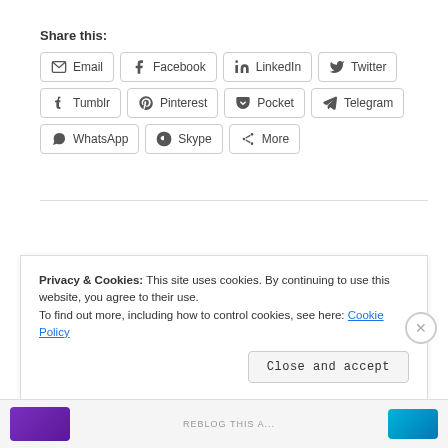Share this:
[Figure (screenshot): Social share buttons: Email, Facebook, LinkedIn, Twitter, Tumblr, Pinterest, Pocket, Telegram, WhatsApp, Skype, More]
Privacy & Cookies: This site uses cookies. By continuing to use this website, you agree to their use. To find out more, including how to control cookies, see here: Cookie Policy
Close and accept